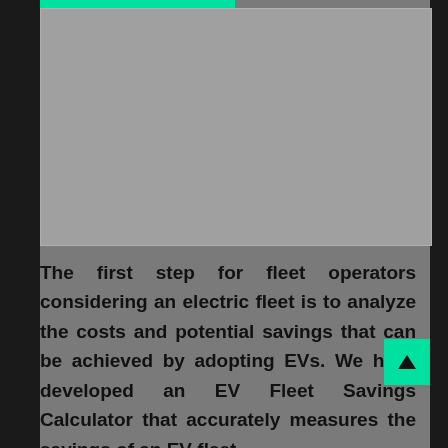[Figure (photo): Gray placeholder image area representing a photo or screenshot from a web page about EV fleet operators.]
The first step for fleet operators considering an electric fleet is to analyze the costs and potential savings that can be achieved by adopting EVs. We have developed an EV Fleet Savings Calculator that accurately measures the savings of an EV fleet.